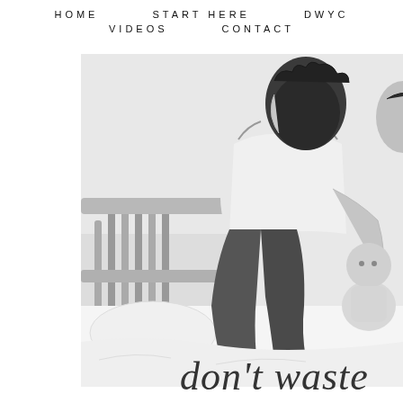HOME   START HERE   DWYC   VIDEOS   CONTACT
[Figure (photo): Black and white photograph of a person in a white tank top and jeans sitting on a bed, leaning in to kiss someone, with a baby sitting in front of them. The background shows a bed headboard.]
don't waste